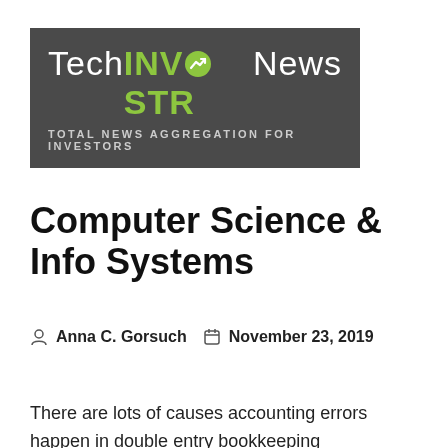[Figure (logo): Tech INVESTOR News logo banner — dark grey background with white 'Tech', green 'INVESTOR' (with chart arrow icon replacing O), white 'News', and white tagline 'TOTAL NEWS AGGREGATION FOR INVESTORS']
Computer Science & Info Systems
Anna C. Gorsuch   November 23, 2019
NEWS TECHNOLOGY
There are lots of causes accounting errors happen in double entry bookkeeping (Additionally see Accounting